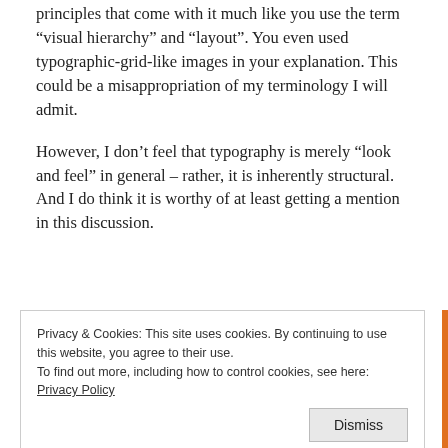principles that come with it much like you use the term “visual hierarchy” and “layout”. You even used typographic-grid-like images in your explanation. This could be a misappropriation of my terminology I will admit.
However, I don’t feel that typography is merely “look and feel” in general – rather, it is inherently structural. And I do think it is worthy of at least getting a mention in this discussion.
Privacy & Cookies: This site uses cookies. By continuing to use this website, you agree to their use.
To find out more, including how to control cookies, see here: Privacy Policy
Dismiss
starts out – as you’ve cited “Usability experts are